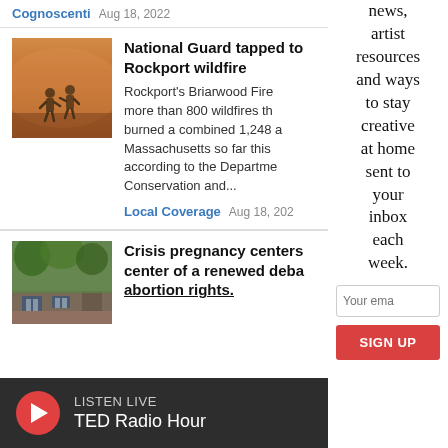Cognoscenti  Aug 18, 2022
[Figure (photo): Two people walking in dense wildfire smoke, orange hazy atmosphere]
National Guard tapped to Rockport wildfire
Rockport's Briarwood Fire more than 800 wildfires th burned a combined 1,248 a Massachusetts so far this according to the Departme Conservation and...
Local Coverage  Aug 18, 2022
[Figure (photo): Brick building with windows and greenery, crisis pregnancy center]
Crisis pregnancy centers center of a renewed deba abortion rights.
news, artist resources and ways to stay creative at home sent to your inbox each week.
Your email
SIGN UP
LISTEN LIVE  TED Radio Hour